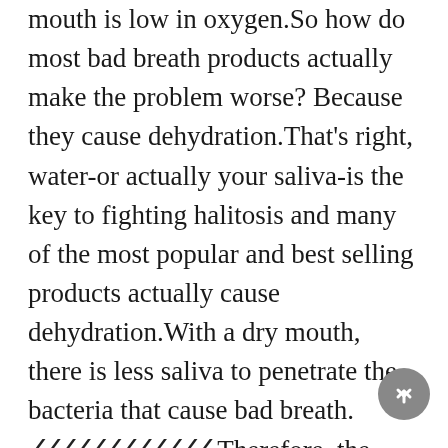mouth is low in oxygen.So how do most bad breath products actually make the problem worse? Because they cause dehydration.That's right, water-or actually your saliva-is the key to fighting halitosis and many of the most popular and best selling products actually cause dehydration.With a dry mouth, there is less saliva to penetrate the bacteria that cause bad breath. [REDACTED].Therefore, the bacteria are breed faster due to dehydration.In other words, bad breath products that cause dehydration (such as mouthwash with alcohol) actually lead to halitosis.While many of the odor causing bacteria live in your tongue and cheeks, there are also some larger geographical areas where the climate is just right for the bacteria to thrive. So even if